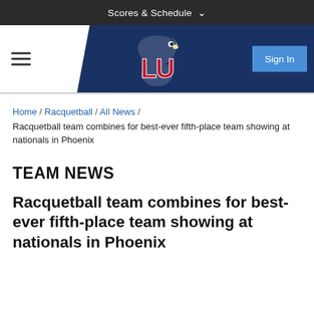Scores & Schedule ∨
[Figure (logo): Liberty University LU Flames eagle logo on navy blue header background with hamburger menu left and Sign In button right]
Home / Racquetball / All News / Racquetball team combines for best-ever fifth-place team showing at nationals in Phoenix
TEAM NEWS
Racquetball team combines for best-ever fifth-place team showing at nationals in Phoenix